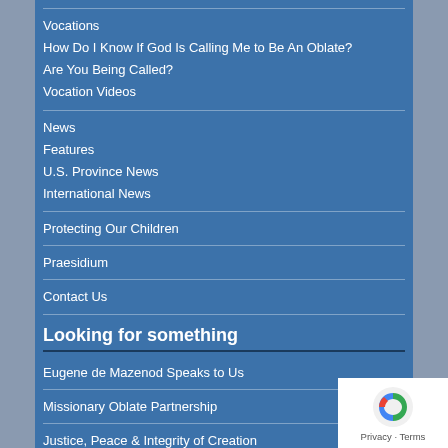Vocations
How Do I Know If God Is Calling Me to Be An Oblate?
Are You Being Called?
Vocation Videos
News
Features
U.S. Province News
International News
Protecting Our Children
Praesidium
Contact Us
Looking for something
Eugene de Mazenod Speaks to Us
Missionary Oblate Partnership
Justice, Peace & Integrity of Creation
Mission, Unity and Dialogue
Oblate Associates...